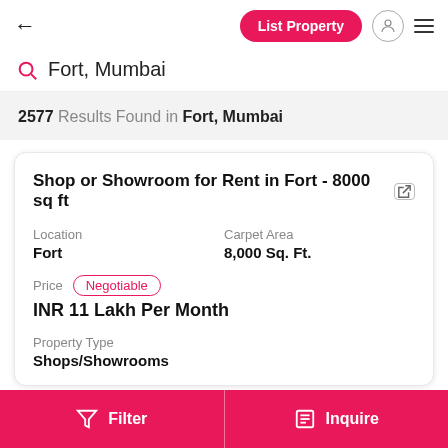List Property
Fort, Mumbai
2577 Results Found in Fort, Mumbai
Shop or Showroom for Rent in Fort - 8000 sq ft
Location
Fort
Carpet Area
8,000 Sq. Ft.
Price
Negotiable
INR 11 Lakh Per Month
Property Type
Shops/Showrooms
Filter   Inquire